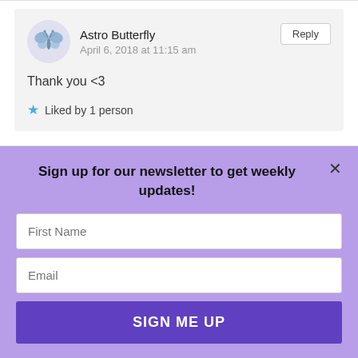Astro Butterfly
April 6, 2018 at 11:15 am
Thank you <3
Liked by 1 person
Sign up for our newsletter to get weekly updates!
[Figure (screenshot): Newsletter signup form with First Name and Email input fields and a SIGN ME UP button on a purple background]